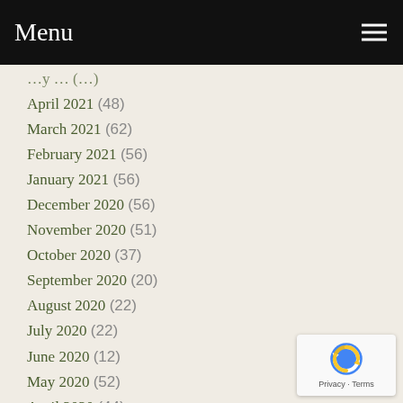Menu
April 2021 (48)
March 2021 (62)
February 2021 (56)
January 2021 (56)
December 2020 (56)
November 2020 (51)
October 2020 (37)
September 2020 (20)
August 2020 (22)
July 2020 (22)
June 2020 (12)
May 2020 (52)
April 2020 (44)
March 2020 (48)
February 2020 (45)
January 2020 (39)
December 2019 (46)
November 2019 (39)